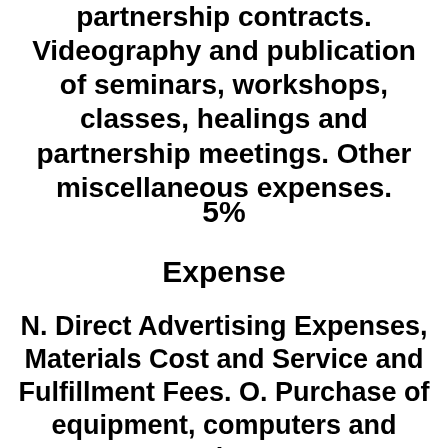partnership contracts. Videography and publication of seminars, workshops, classes, healings and partnership meetings. Other miscellaneous expenses.
5%
Expense
N. Direct Advertising Expenses, Materials Cost and Service and Fulfillment Fees. O. Purchase of equipment, computers and other 1% Amortized